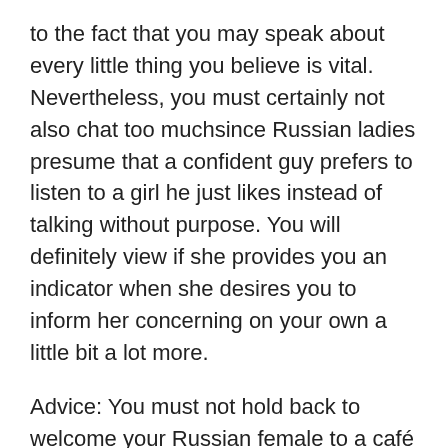to the fact that you may speak about every little thing you believe is vital. Nevertheless, you must certainly not also chat too muchsince Russian ladies presume that a confident guy prefers to listen to a girl he just likes instead of talking without purpose. You will definitely view if she provides you an indicator when she desires you to inform her concerning on your own a little bit a lot more.
Advice: You must not hold back to welcome your Russian female to a café or even a bistro given that you will instantly present your accurate enchanting objectives in the direction of her. It is actually important to become a true guy, yet you ought to not touchher up until she is comfortable sufficient when you are near.
Be certain to offer a Russian female a beverage since they enjoy when a self-assured man can easily woo